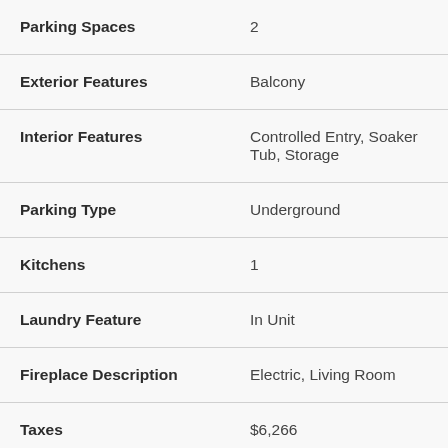| Property Feature | Value |
| --- | --- |
| Parking Spaces | 2 |
| Exterior Features | Balcony |
| Interior Features | Controlled Entry, Soaker Tub, Storage |
| Parking Type | Underground |
| Kitchens | 1 |
| Laundry Feature | In Unit |
| Fireplace Description | Electric, Living Room |
| Taxes | $6,266 |
| Rentals Allowed | Unrestricted |